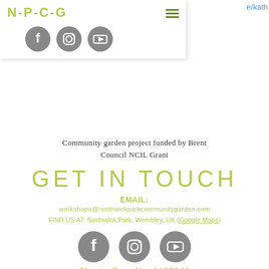e/kath
[Figure (logo): N-P-C-G logo text in yellow-green with hamburger menu icon]
[Figure (illustration): Three social media icons (Facebook, Instagram, YouTube) in gray circles]
Community garden project funded by Brent Council NCIL Grant
GET IN TOUCH
EMAIL:
workshops@northwickparkcommunitygarden.com
FIND US AT: Northwick Park, Wembley, UK (Google Maps)
[Figure (illustration): Three social media icons (Facebook, Instagram, YouTube) in gray circles]
Charity Reg. No. 1180141
© 2022 by DickensDesigns created with Wix.com